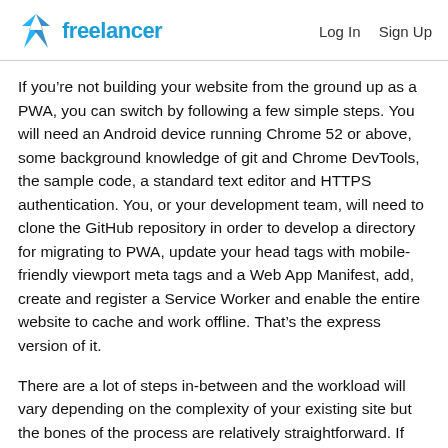Freelancer | Log In  Sign Up
If you’re not building your website from the ground up as a PWA, you can switch by following a few simple steps. You will need an Android device running Chrome 52 or above, some background knowledge of git and Chrome DevTools, the sample code, a standard text editor and HTTPS authentication. You, or your development team, will need to clone the GitHub repository in order to develop a directory for migrating to PWA, update your head tags with mobile-friendly viewport meta tags and a Web App Manifest, add, create and register a Service Worker and enable the entire website to cache and work offline. That’s the express version of it.
There are a lot of steps in-between and the workload will vary depending on the complexity of your existing site but the bones of the process are relatively straightforward. If